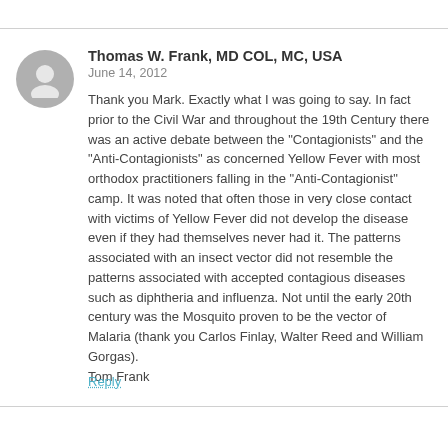Thomas W. Frank, MD COL, MC, USA
June 14, 2012
Thank you Mark. Exactly what I was going to say. In fact prior to the Civil War and throughout the 19th Century there was an active debate between the “Contagionists” and the “Anti-Contagionists” as concerned Yellow Fever with most orthodox practitioners falling in the “Anti-Contagionist” camp. It was noted that often those in very close contact with victims of Yellow Fever did not develop the disease even if they had themselves never had it. The patterns associated with an insect vector did not resemble the patterns associated with accepted contagious diseases such as diphtheria and influenza. Not until the early 20th century was the Mosquito proven to be the vector of Malaria (thank you Carlos Finlay, Walter Reed and William Gorgas).
Tom Frank
Reply